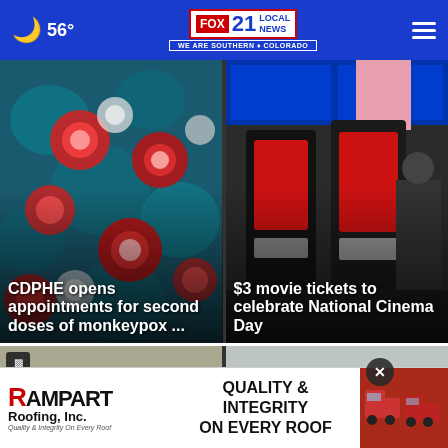56° FOX 21 LOCAL NEWS — WE ARE SOUTHERN COLORADO
[Figure (photo): Close-up microscope image of red and white monkeypox virus cells on blue background]
CDPHE opens appointments for second doses of monkeypox ...
[Figure (photo): Cinema ticket kiosk machines in a movie theater lobby with blue display boards above]
$3 movie tickets to celebrate National Cinema Day
[Figure (photo): Aerial view of a highway with cars driving on it, police activity visible]
CSPD
[Figure (photo): Aerial landscape view of open fields and an airstrip]
[Figure (photo): Rampart Roofing advertisement showing red trucks — QUALITY & INTEGRITY ON EVERY ROOF]